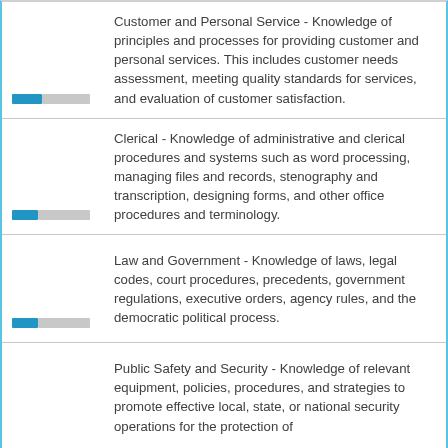Customer and Personal Service - Knowledge of principles and processes for providing customer and personal services. This includes customer needs assessment, meeting quality standards for services, and evaluation of customer satisfaction.
Clerical - Knowledge of administrative and clerical procedures and systems such as word processing, managing files and records, stenography and transcription, designing forms, and other office procedures and terminology.
Law and Government - Knowledge of laws, legal codes, court procedures, precedents, government regulations, executive orders, agency rules, and the democratic political process.
Public Safety and Security - Knowledge of relevant equipment, policies, procedures, and strategies to promote effective local, state, or national security operations for the protection of